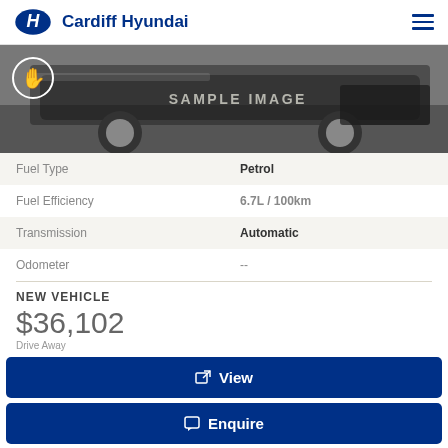Cardiff Hyundai
[Figure (photo): Sample image of a Hyundai vehicle front/lower section, with a hand/touch icon overlay and 'SAMPLE IMAGE' watermark text.]
| Attribute | Value |
| --- | --- |
| Fuel Type | Petrol |
| Fuel Efficiency | 6.7L / 100km |
| Transmission | Automatic |
| Odometer | -- |
NEW VEHICLE
$36,102
Drive Away
View
Enquire